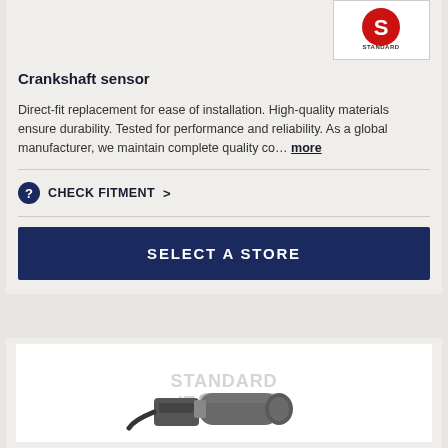[Figure (logo): Standard Motor Products logo — red circular element with 'STANDARD' text]
Crankshaft sensor
Direct-fit replacement for ease of installation. High-quality materials ensure durability. Tested for performance and reliability. As a global manufacturer, we maintain complete quality co… more
CHECK FITMENT >
SELECT A STORE
[Figure (photo): Photo of a crankshaft position sensor — cylindrical metal part with wiring connector, shown against white background with Standard Motor Products watermark]